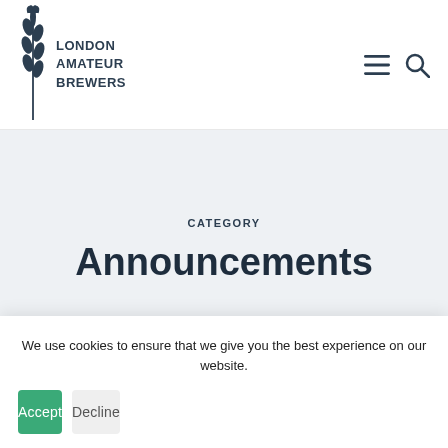LONDON AMATEUR BREWERS
CATEGORY
Announcements
We use cookies to ensure that we give you the best experience on our website.
Accept
Decline